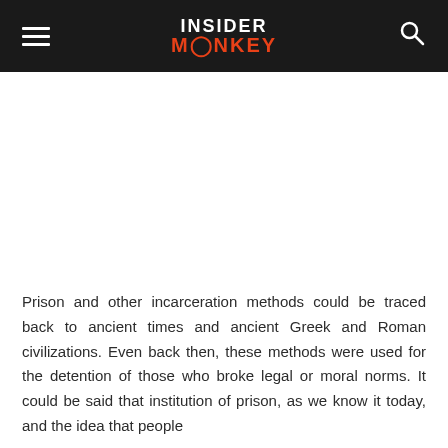[Figure (logo): Insider Monkey website header/navigation bar with hamburger menu on left, Insider Monkey logo in center (INSIDER in white, MONKEY in red/orange), and search icon on right, on black background]
Prison and other incarceration methods could be traced back to ancient times and ancient Greek and Roman civilizations. Even back then, these methods were used for the detention of those who broke legal or moral norms. It could be said that institution of prison, as we know it today, and the idea that people